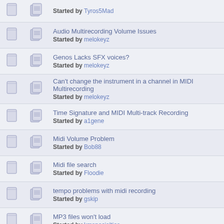Drums Noobs Help
Started by Tyros5Mad
Audio Multirecording Volume Issues
Started by melokeyz
Genos Lacks SFX voices?
Started by melokeyz
Can't change the instrument in a channel in MIDI Multirecording
Started by melokeyz
Time Signature and MIDI Multi-track Recording
Started by a1gene
Midi Volume Problem
Started by Bob88
Midi file search
Started by Floodie
tempo problems with midi recording
Started by gskip
MP3 files won't load
Started by kmspecialties
Inserting Transposition to a Midi File?